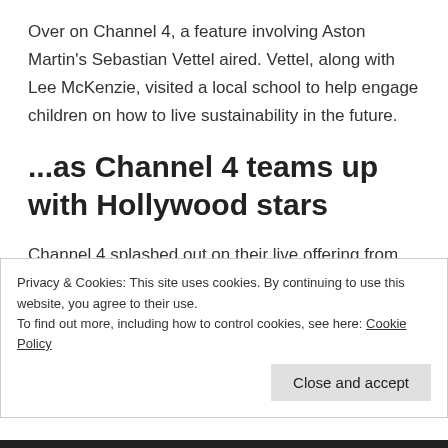Over on Channel 4, a feature involving Aston Martin's Sebastian Vettel aired. Vettel, along with Lee McKenzie, visited a local school to help engage children on how to live sustainability in the future.
...as Channel 4 teams up with Hollywood stars
Channel 4 splashed out on their live offering from Silverstone, with Hollywood stars Tom Cruise and Ryan Reynolds featuring through their broadcasts.
Privacy & Cookies: This site uses cookies. By continuing to use this website, you agree to their use.
To find out more, including how to control cookies, see here: Cookie Policy
Close and accept